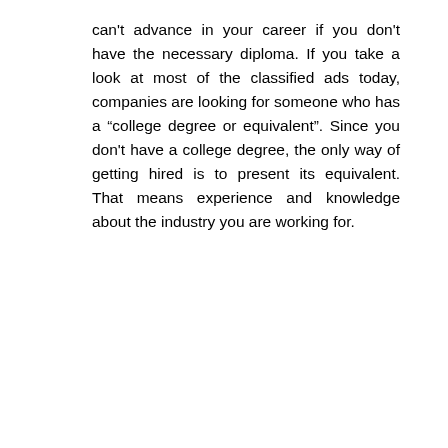can't advance in your career if you don't have the necessary diploma. If you take a look at most of the classified ads today, companies are looking for someone who has a “college degree or equivalent”. Since you don't have a college degree, the only way of getting hired is to present its equivalent. That means experience and knowledge about the industry you are working for.